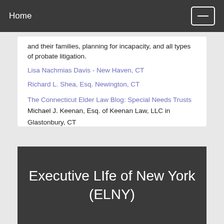Home
and their families, planning for incapacity, and all types of probate litigation.
Lisa Nachmias Davis - New Haven, CT
Richard L. Shea, Esq. Newington, CT
The Connecticut Elder Law Blog: Special Needs Trusts
Michael J. Keenan, Esq. of Keenan Law, LLC in Glastonbury, CT
Florida Special Needs Lawyer David J. Lillesand
Lillesand and Wolasky, P.L. Miami and Gainesville, FL
Executive LIfe of New York (ELNY)